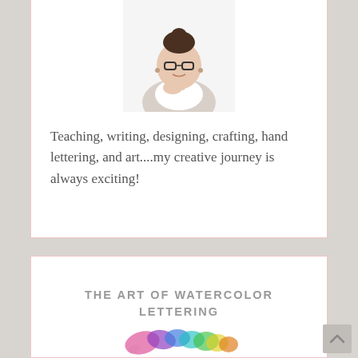[Figure (photo): Portrait photo of a woman with dark hair in a bun, wearing glasses and a light gray cardigan, posed with hand near chin]
Teaching, writing, designing, crafting, hand lettering, and art....my creative journey is always exciting!
THE ART OF WATERCOLOR LETTERING
[Figure (illustration): Colorful watercolor paint splash in rainbow colors (pink, purple, blue, green, yellow, orange)]